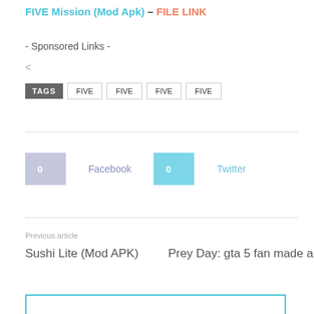FIVE Mission (Mod Apk) – FILE LINK
- Sponsored Links -
<
TAGS  FIVE  FIVE  FIVE  FIVE
[Figure (other): Social share buttons: Facebook (0) and Twitter (0)]
Previous article
Sushi Lite (Mod APK)
Prey Day: gta 5 fan made apk andr